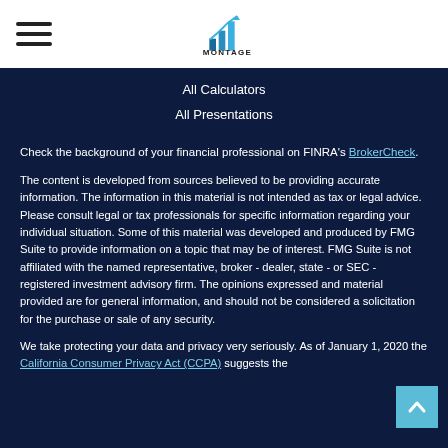[Figure (logo): Montage financial logo with bar chart icon and MONTAGE text]
All Calculators
All Presentations
Check the background of your financial professional on FINRA's BrokerCheck.
The content is developed from sources believed to be providing accurate information. The information in this material is not intended as tax or legal advice. Please consult legal or tax professionals for specific information regarding your individual situation. Some of this material was developed and produced by FMG Suite to provide information on a topic that may be of interest. FMG Suite is not affiliated with the named representative, broker - dealer, state - or SEC - registered investment advisory firm. The opinions expressed and material provided are for general information, and should not be considered a solicitation for the purchase or sale of any security.
We take protecting your data and privacy very seriously. As of January 1, 2020 the California Consumer Privacy Act (CCPA) suggests the